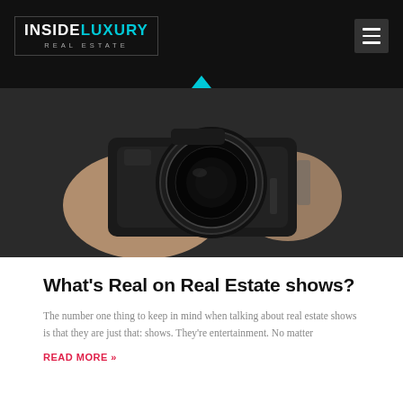INSIDE LUXURY REAL ESTATE
[Figure (photo): Close-up of a person holding a professional camera with a large lens, photographed from the front.]
What’s Real on Real Estate shows?
The number one thing to keep in mind when talking about real estate shows is that they are just that: shows. They’re entertainment. No matter
READ MORE »